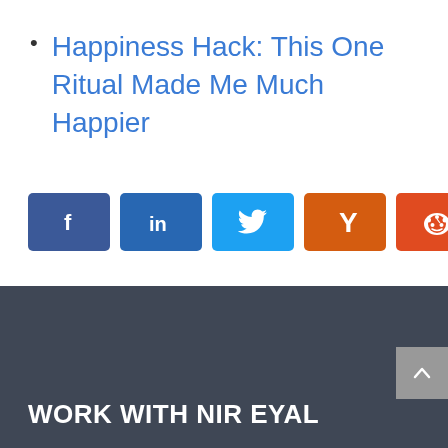Happiness Hack: This One Ritual Made Me Much Happier
[Figure (other): Social share buttons row: Facebook, LinkedIn, Twitter, Hacker News (Y), Reddit, Pocket]
WORK WITH NIR EYAL